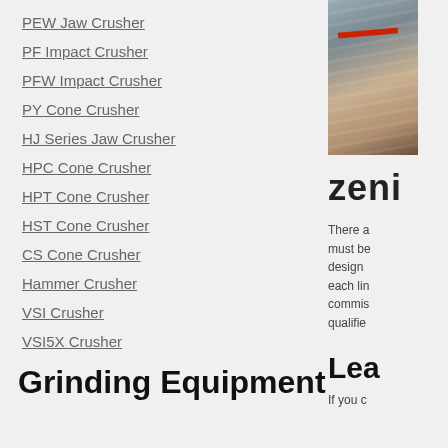PEW Jaw Crusher
PF Impact Crusher
PFW Impact Crusher
PY Cone Crusher
HJ Series Jaw Crusher
HPC Cone Crusher
HPT Cone Crusher
HST Cone Crusher
CS Cone Crusher
Hammer Crusher
VSI Crusher
VSI5X Crusher
Grinding Equipment
[Figure (photo): Industrial equipment or construction site machinery photo, partially visible on right edge of page]
zeni
There a must be design each lin commis qualifie
Lea
If you c